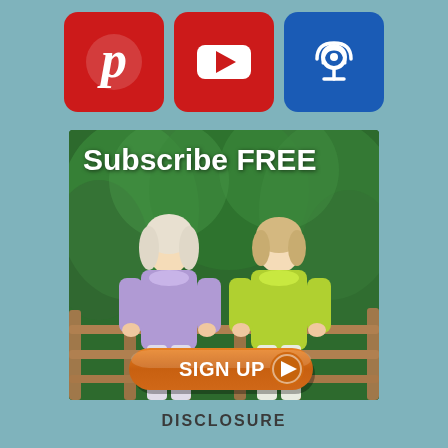[Figure (illustration): Three social media icons in a row: Pinterest (red rounded square with P logo), YouTube (red rounded square with play button), and Apple Podcasts (blue rounded square with microphone/wifi icon)]
[Figure (photo): Two women standing outdoors in front of a wooden fence and green foliage. Left woman wears lavender zip-up top, right woman wears neon yellow/green zip-up. Text overlay reads 'Subscribe FREE' at top and orange pill-shaped 'SIGN UP' button with play arrow at bottom.]
DISCLOSURE